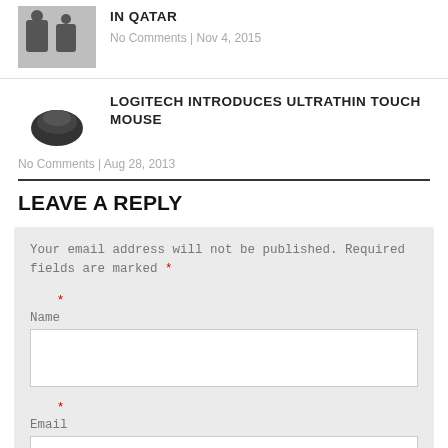[Figure (photo): Thumbnail photo of two people sitting, in Qatar article]
IN QATAR
No Comments | Nov 4, 2015
[Figure (photo): Thumbnail photo of a Logitech Ultrathin Touch Mouse]
LOGITECH INTRODUCES ULTRATHIN TOUCH MOUSE
No Comments | Aug 28, 2013
LEAVE A REPLY
Your email address will not be published. Required fields are marked *
* Name
* Email